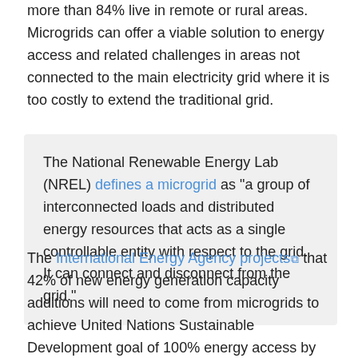more than 84% live in remote or rural areas. Microgrids can offer a viable solution to energy access and related challenges in areas not connected to the main electricity grid where it is too costly to extend the traditional grid.
The National Renewable Energy Lab (NREL) defines a microgrid as "a group of interconnected loads and distributed energy resources that acts as a single controllable entity with respect to the grid. It can connect and disconnect from the grid."
The International Energy Agency projects that 42% of new energy generation capacity additions will need to come from microgrids to achieve United Nations Sustainable Development goal of 100% energy access by 2030.